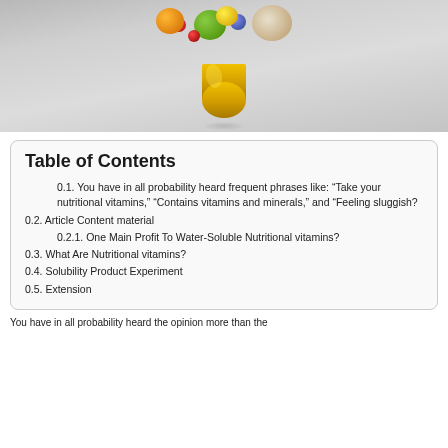[Figure (photo): A golden supplement capsule open at the top with various fruits and food items spilling out, on a gray gradient background. The capsule bottom half is gold-colored with a shadow reflection below.]
Table of Contents
0.1. You have in all probability heard frequent phrases like: “Take your nutritional vitamins,” “Contains vitamins and minerals,” and “Feeling sluggish?
0.2. Article Content material
0.2.1. One Main Profit To Water-Soluble Nutritional vitamins?
0.3. What Are Nutritional vitamins?
0.4. Solubility Product Experiment
0.5. Extension
You have in all probability heard the opinion more than the